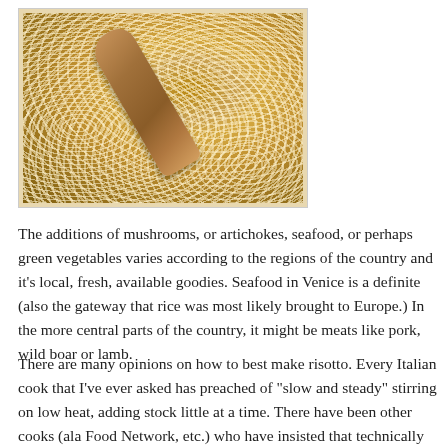[Figure (photo): Close-up photo of risotto being stirred in a pan with a wooden spoon, showing creamy rice texture]
The additions of mushrooms, or artichokes, seafood, or perhaps green vegetables varies according to the regions of the country and it's local, fresh, available goodies. Seafood in Venice is a definite (also the gateway that rice was most likely brought to Europe.) In the more central parts of the country, it might be meats like pork, wild boar or lamb.
There are many opinions on how to best make risotto. Every Italian cook that I've ever asked has preached of "slow and steady" stirring on low heat, adding stock little at a time. There have been other cooks (ala Food Network, etc.) who have insisted that technically you don't have to even stir or watch so carefully. You can probably